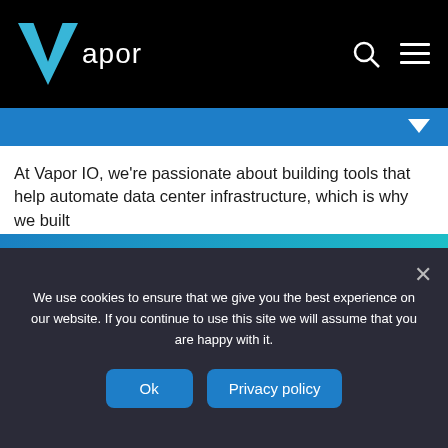Vapor
[Figure (screenshot): Blue banner with chevron/arrow icon on right]
At Vapor IO, we’re passionate about building tools that help automate data center infrastructure, which is why we built OpenDCRE (Open Data Center Runtime Environment). OpenDCRE provides a scalable RESTful API for monitoring and controlling data center and edge equipment, including cooling sensors and server...
Kinetic Grid Platform
Kinetic Grid™ Enables Hypersive to Deliver Security and Video
Latest News
READ MORE →
We use cookies to ensure that we give you the best experience on our website. If you continue to use this site we will assume that you are happy with it.
Ok
Privacy policy